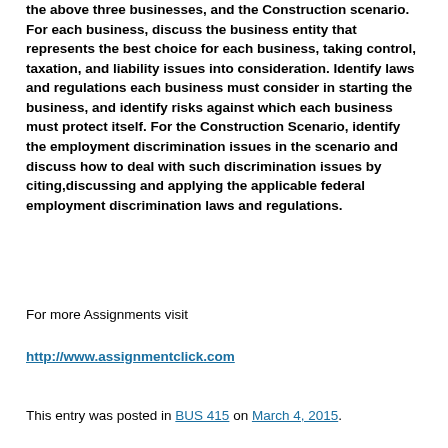the above  three businesses, and the Construction scenario. For each business, discuss the business entity that represents the best choice for each business, taking control, taxation, and liability issues into consideration. Identify laws and regulations each business must consider in starting the business, and identify risks against which each business must protect itself. For the  Construction Scenario, identify the employment discrimination issues in the scenario and discuss how to deal with such discrimination issues by citing,discussing and applying  the applicable federal  employment discrimination laws and regulations.
For more Assignments visit
http://www.assignmentclick.com
This entry was posted in BUS 415 on March 4, 2015.